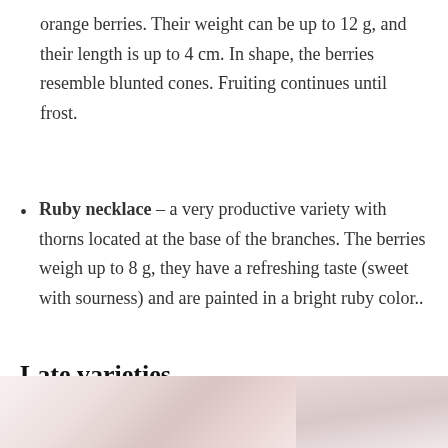orange berries. Their weight can be up to 12 g, and their length is up to 4 cm. In shape, the berries resemble blunted cones. Fruiting continues until frost.
Ruby necklace – a very productive variety with thorns located at the base of the branches. The berries weigh up to 8 g, they have a refreshing taste (sweet with sourness) and are painted in a bright ruby color..
Late varieties
[Figure (photo): Photo of berries, partially visible at bottom of page]